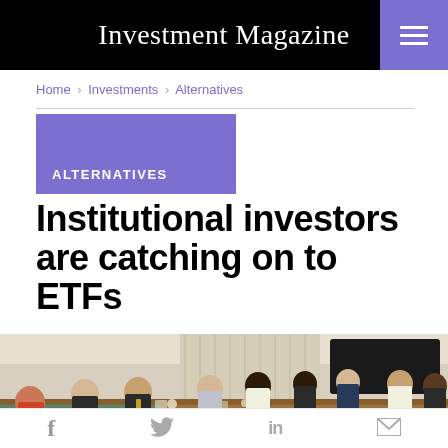Investment Magazine
Home > Investments > Alternatives
ALTERNATIVES
Institutional investors are catching on to ETFs
[Figure (photo): Group of institutional investors and professionals seated around a conference table in a meeting room, engaged in discussion.]
Social share icons: Facebook, Twitter, LinkedIn, Email